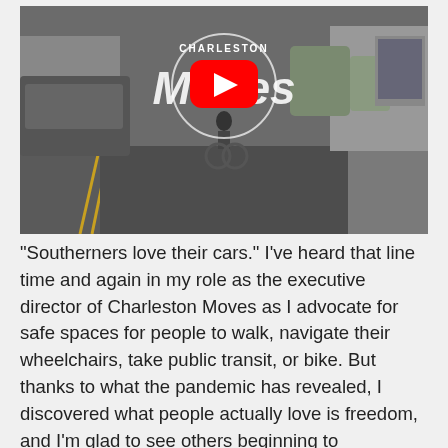[Figure (screenshot): YouTube video thumbnail for Charleston Moves, showing a person biking on a city street with cars parked on the left, a large red YouTube play button overlay in the center, and 'Charleston Moves' logo text in white at the top.]
"Southerners love their cars." I've heard that line time and again in my role as the executive director of Charleston Moves as I advocate for safe spaces for people to walk, navigate their wheelchairs, take public transit, or bike. But thanks to what the pandemic has revealed, I discovered what people actually love is freedom, and I'm glad to see others beginning to reconsider what that means for how we get around.
For all of the terrifying aspects of COVID-19 and the shutdown, a silver lining is that we have been getting outside and shifting how we move. Last year, with streets